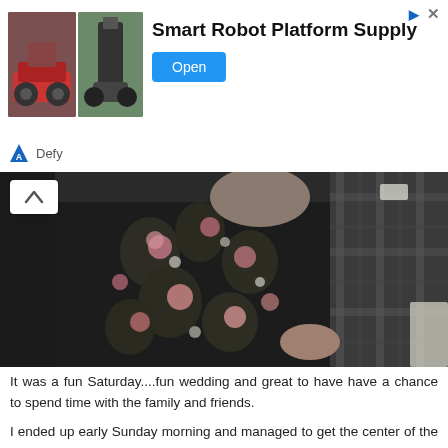[Figure (screenshot): Advertisement banner for 'Smart Robot Platform Supply' by Defy, showing two robot images on the left, bold title text in the center, and a blue 'Open' button on the right.]
[Figure (photo): Photograph of a person wearing a black floral dress with pink and white flowers, partially showing another person in a plaid shirt in the background.]
It was a fun Saturday....fun wedding and great to have have a chance to spend time with the family and friends.
I ended up early Sunday morning and managed to get the center of the quilt top sewn together.  Now borders, quilting and binding.  I sure am glad we managed the big push.  It makes me feel a lot better about the deadline.